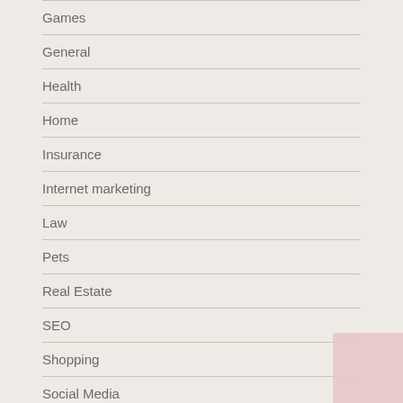Games
General
Health
Home
Insurance
Internet marketing
Law
Pets
Real Estate
SEO
Shopping
Social Media
Software
Sports